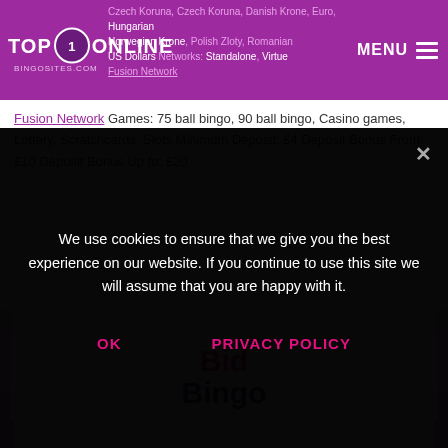Top Online Bingo Sites - MENU
Czech Koruna, Czech Koruna, Danish Krone, Euros, Hungarian Forint, Norwegian Krone, Polish Zloty, Romanian Leu, US Dollars Networks: Standalone, Virtue Fusion Network Games: 75 ball bingo, 90 ball bingo, Casino games, Lottery, Scratchcards, Slots Minimum Deposit: £4 Deposit Bonus From: £10 Deposit Bonus Up to: £20
[Figure (logo): Bid Bingo logo with 'Bid' in pink/magenta and 'Bingo' in dark purple, on a light grey background]
We use cookies to ensure that we give you the best experience on our website. If you continue to use this site we will assume that you are happy with it.
OK   PRIVACY POLICY